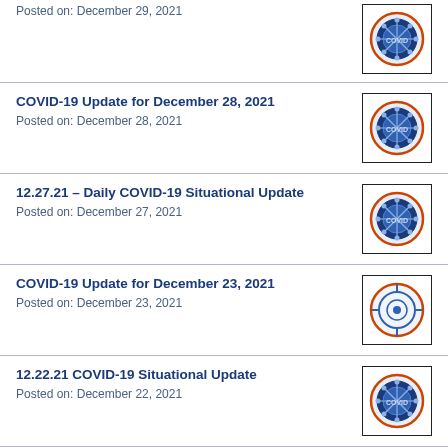Posted on: December 29, 2021
COVID-19 Update for December 28, 2021
Posted on: December 28, 2021
12.27.21 – Daily COVID-19 Situational Update
Posted on: December 27, 2021
COVID-19 Update for December 23, 2021
Posted on: December 23, 2021
12.22.21 COVID-19 Situational Update
Posted on: December 22, 2021
Environmental Incident at Willett Dairy December 22, 2021
Posted on: December 22, 2021